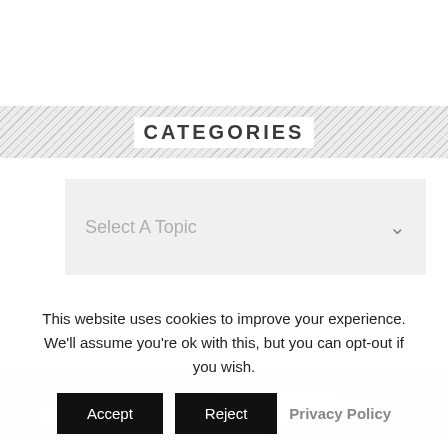CATEGORIES
Select A Topic
SITE INFORMATION
Contact
Team Bios
This website uses cookies to improve your experience. We'll assume you're ok with this, but you can opt-out if you wish.
Accept   Reject   Privacy Policy